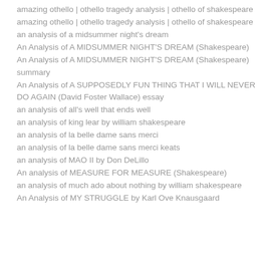amazing othello | othello tragedy analysis | othello of shakespeare amazing othello | othello tragedy analysis | othello of shakespeare
an analysis of a midsummer night's dream
An Analysis of A MIDSUMMER NIGHT'S DREAM (Shakespeare)
An Analysis of A MIDSUMMER NIGHT'S DREAM (Shakespeare) summary
An Analysis of A SUPPOSEDLY FUN THING THAT I WILL NEVER DO AGAIN (David Foster Wallace) essay
an analysis of all's well that ends well
an analysis of king lear by william shakespeare
an analysis of la belle dame sans merci
an analysis of la belle dame sans merci keats
an analysis of MAO II by Don DeLillo
An analysis of MEASURE FOR MEASURE (Shakespeare)
an analysis of much ado about nothing by william shakespeare
An Analysis of MY STRUGGLE by Karl Ove Knausgaard